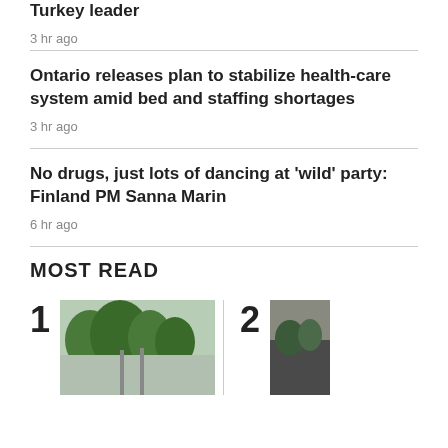Turkey leader
3 hr ago
Ontario releases plan to stabilize health-care system amid bed and staffing shortages
3 hr ago
No drugs, just lots of dancing at 'wild' party: Finland PM Sanna Marin
6 hr ago
MOST READ
[Figure (photo): Outdoor scene with trees, item 1]
[Figure (photo): Dark outdoor scene, item 2]